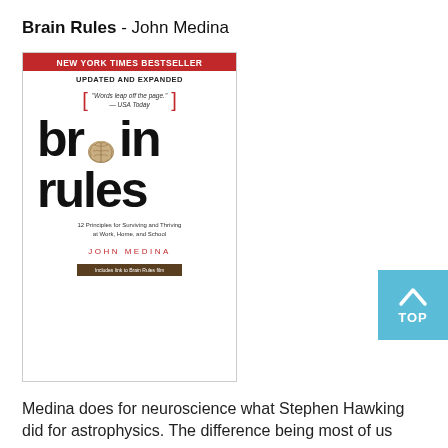Brain Rules - John Medina
[Figure (photo): Book cover of 'Brain Rules' by John Medina — Updated and Expanded edition. Red banner reads 'NEW YORK TIMES BESTSELLER'. Below: 'UPDATED AND EXPANDED'. A quote in brackets: '"Words leap off the page." — USA Today'. Large black text: 'brain rules' with a brain illustration replacing the letter 'a'. Subtitle: '12 Principles for Surviving and Thriving at Work, Home, and School'. Author name: 'JOHN MEDINA' in red spaced caps. Small brown footer band.]
[Figure (other): Blue 'TOP' button with upward chevron arrow in top-right area of page]
Medina does for neuroscience what Stephen Hawking did for astrophysics. The difference being most of us